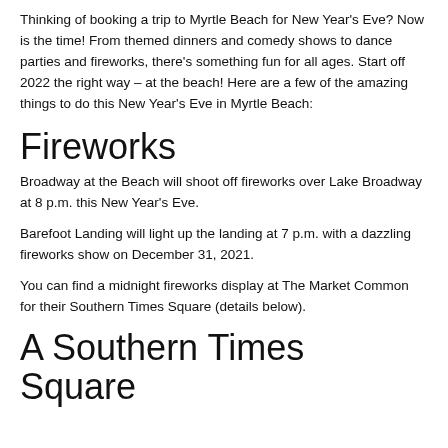Thinking of booking a trip to Myrtle Beach for New Year's Eve? Now is the time! From themed dinners and comedy shows to dance parties and fireworks, there's something fun for all ages. Start off 2022 the right way – at the beach! Here are a few of the amazing things to do this New Year's Eve in Myrtle Beach:
Fireworks
Broadway at the Beach will shoot off fireworks over Lake Broadway at 8 p.m. this New Year's Eve.
Barefoot Landing will light up the landing at 7 p.m. with a dazzling fireworks show on December 31, 2021.
You can find a midnight fireworks display at The Market Common for their Southern Times Square (details below).
A Southern Times Square